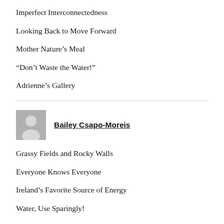Imperfect Interconnectedness
Looking Back to Move Forward
Mother Nature's Meal
“Don’t Waste the Water!”
Adrienne’s Gallery
Bailey Csapo-Moreis
Grassy Fields and Rocky Walls
Everyone Knows Everyone
Ireland’s Favorite Source of Energy
Water, Use Sparingly!
Soup, Soup and More Soup!